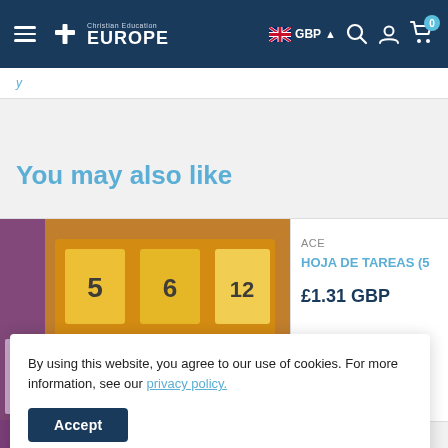Christian Education EUROPE — GBP — 0 items in cart
y
You may also like
[Figure (photo): Blurred product image showing numbered cards (5, 6, 12) with colorful geometric shapes on an orange/brown background, with a purple column on the left.]
ACE
HOJA DE TAREAS (5
£1.31 GBP
By using this website, you agree to our use of cookies. For more information, see our privacy policy.
Accept